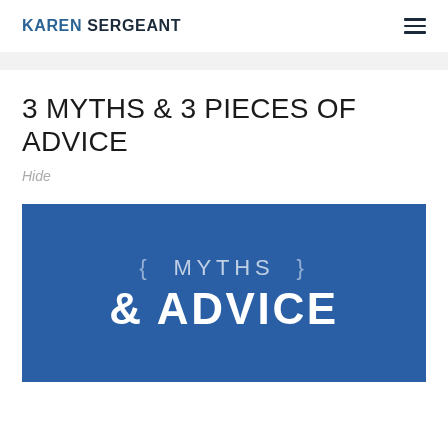KAREN SERGEANT
3 MYTHS & 3 PIECES OF ADVICE
Hide
[Figure (illustration): Blue banner image with text '{ MYTHS }' in light thin letters and '& ADVICE' in large bold white letters below, on a blue background.]